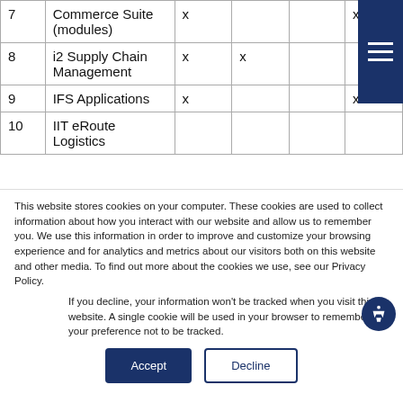| # | Product | Col3 | Col4 | Col5 | Col6 |
| --- | --- | --- | --- | --- | --- |
| 7 | Commerce Suite (modules) | x |  | x |  |
| 8 | i2 Supply Chain Management | x | x |  |  |
| 9 | IFS Applications | x |  | x |  |
| 10 | IIT eRoute Logistics |  |  |  |  |
This website stores cookies on your computer. These cookies are used to collect information about how you interact with our website and allow us to remember you. We use this information in order to improve and customize your browsing experience and for analytics and metrics about our visitors both on this website and other media. To find out more about the cookies we use, see our Privacy Policy.
If you decline, your information won't be tracked when you visit this website. A single cookie will be used in your browser to remember your preference not to be tracked.